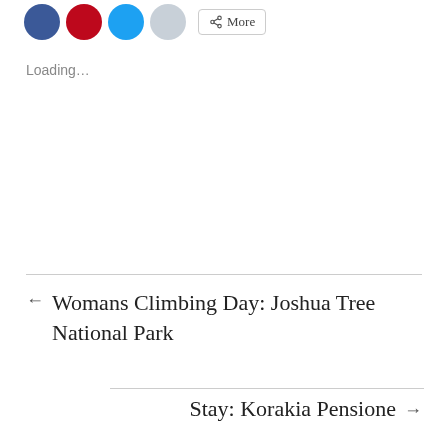[Figure (other): Social share buttons: Facebook (blue circle), Pinterest (red circle), Twitter (blue circle), Reddit (grey circle), and a More button with share icon]
Loading…
← Womans Climbing Day: Joshua Tree National Park
Stay: Korakia Pensione →